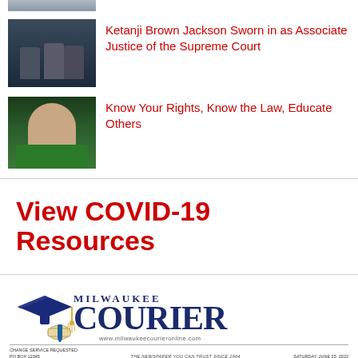[Figure (photo): Partial thumbnail image at top of page (cropped)]
[Figure (photo): Photo of Ketanji Brown Jackson being sworn in as Associate Justice of the Supreme Court]
Ketanji Brown Jackson Sworn in as Associate Justice of the Supreme Court
[Figure (photo): Portrait photo of a woman in a green jacket]
Know Your Rights, Know the Law, Educate Others
View COVID-19 Resources
[Figure (logo): Milwaukee Courier newspaper masthead with graduation cap graphic, website www.milwaukeecourieronline.com, tagline THE NEWSPAPER YOU CAN TRUST SINCE 1964, date SATURDAY, JUNE 25, 2022]